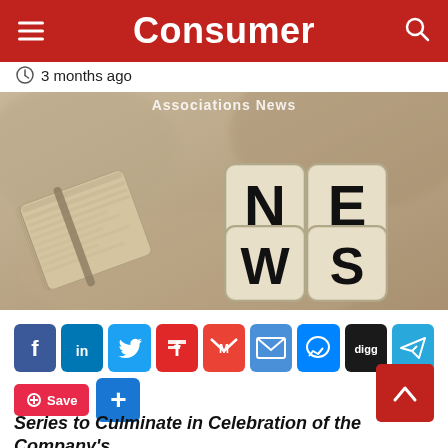Consumer
3 months ago
[Figure (photo): Sepia-toned photo of dice spelling NEWS next to a rolled-up newspaper tied with string, on a light background.]
[Figure (infographic): Row of social share buttons: Facebook, LinkedIn, Twitter, Flipboard, Gmail, Email, Messenger, Digg, Telegram; plus a Save (Pinterest) button and a blue Plus button; and a red scroll-to-top arrow button.]
Series to Culminate in Celebration of the Company's